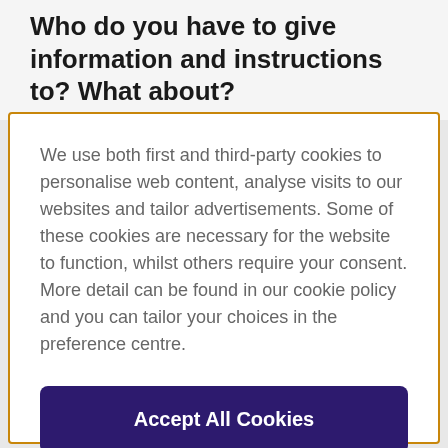Who do you have to give information and instructions to? What about?
We use both first and third-party cookies to personalise web content, analyse visits to our websites and tailor advertisements. Some of these cookies are necessary for the website to function, whilst others require your consent. More detail can be found in our cookie policy and you can tailor your choices in the preference centre.
Accept All Cookies
Cookies Settings